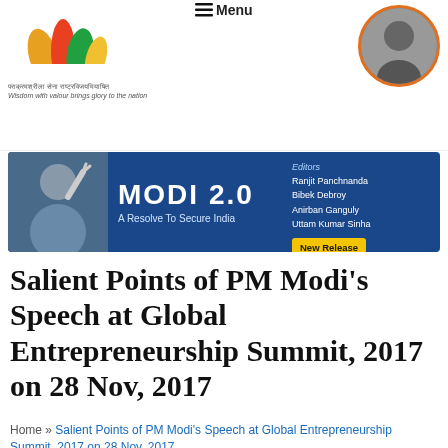[Figure (logo): Colorful flame/wing logo with Sanskrit text and English tagline 'Wisdom with valour brings glory to the nation']
[Figure (logo): Menu icon with text 'Menu']
[Figure (photo): Circular black and white portrait photo of a person in profile, with orange border]
[Figure (infographic): Book advertisement banner for MODI 2.0 - A Resolve To Secure India, with editors listed: Ranjit Panchnanda, Bibek Debroy, Anirban Ganguly, Uttam Kumar Sinha. New Release label shown.]
Salient Points of PM Modi’s Speech at Global Entrepreneurship Summit, 2017 on 28 Nov, 2017
Home » Salient Points of PM Modi’s Speech at Global Entrepreneurship Summit, 2017 on 28 Nov, 2017